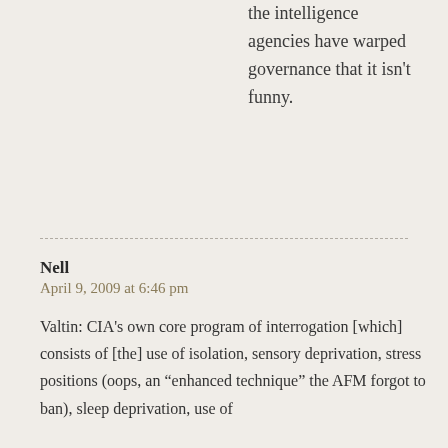the intelligence agencies have warped governance that it isn't funny.
Nell
April 9, 2009 at 6:46 pm

Valtin: CIA's own core program of interrogation [which] consists of [the] use of isolation, sensory deprivation, stress positions (oops, an “enhanced technique” the AFM forgot to ban), sleep deprivation, use of